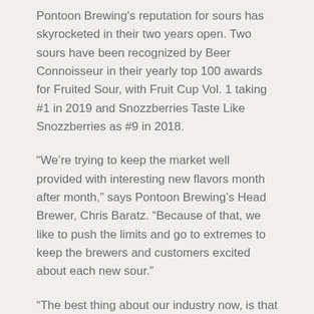Pontoon Brewing's reputation for sours has skyrocketed in their two years open. Two sours have been recognized by Beer Connoisseur in their yearly top 100 awards for Fruited Sour, with Fruit Cup Vol. 1 taking #1 in 2019 and Snozzberries Taste Like Snozzberries as #9 in 2018.
“We’re trying to keep the market well provided with interesting new flavors month after month,” says Pontoon Brewing’s Head Brewer, Chris Baratz. “Because of that, we like to push the limits and go to extremes to keep the brewers and customers excited about each new sour.”
“The best thing about our industry now, is that we are willing to push the limits and come up with the most creative beer possible. The best thing about partnering with Pontoon is that they